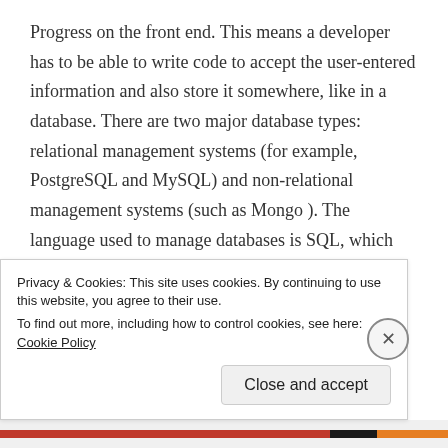Progress on the front end. This means a developer has to be able to write code to accept the user-entered information and also store it somewhere, like in a database. There are two major database types: relational management systems (for example, PostgreSQL and MySQL) and non-relational management systems (such as Mongo ). The language used to manage databases is SQL, which helps developers to interact with the database. The concepts may sound foreign, but understand that there are different database management systems based on convenience and use. Managing servers is another
Privacy & Cookies: This site uses cookies. By continuing to use this website, you agree to their use.
To find out more, including how to control cookies, see here: Cookie Policy
Close and accept